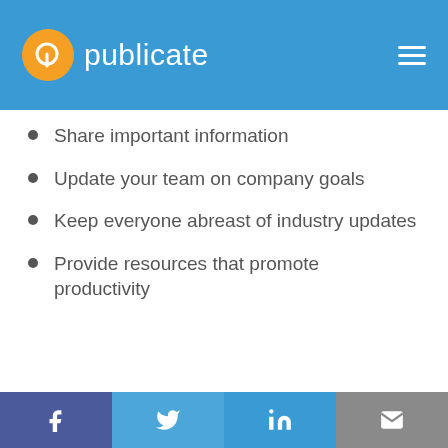publicate
Share important information
Update your team on company goals
Keep everyone abreast of industry updates
Provide resources that promote productivity
f  Twitter  in  mail